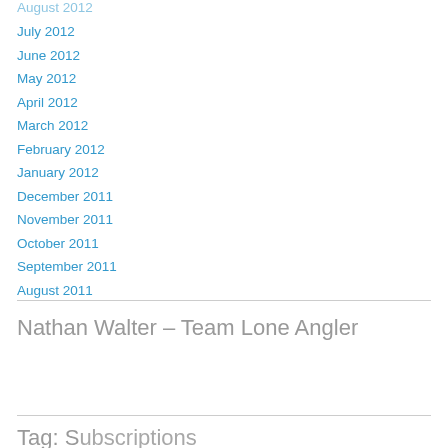August 2012
July 2012
June 2012
May 2012
April 2012
March 2012
February 2012
January 2012
December 2011
November 2011
October 2011
September 2011
August 2011
Nathan Walter – Team Lone Angler
Tag: Subscriptions